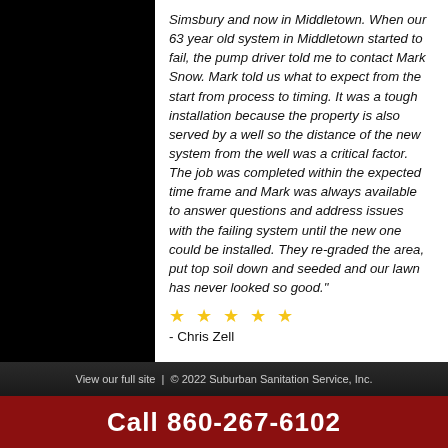Simsbury and now in Middletown. When our 63 year old system in Middletown started to fail, the pump driver told me to contact Mark Snow. Mark told us what to expect from the start from process to timing. It was a tough installation because the property is also served by a well so the distance of the new system from the well was a critical factor. The job was completed within the expected time frame and Mark was always available to answer questions and address issues with the failing system until the new one could be installed. They re-graded the area, put top soil down and seeded and our lawn has never looked so good."
★ ★ ★ ★ ★
- Chris Zell
« Back to Testimonials
View our full site  |  © 2022 Suburban Sanitation Service, Inc.
Call 860-267-6102